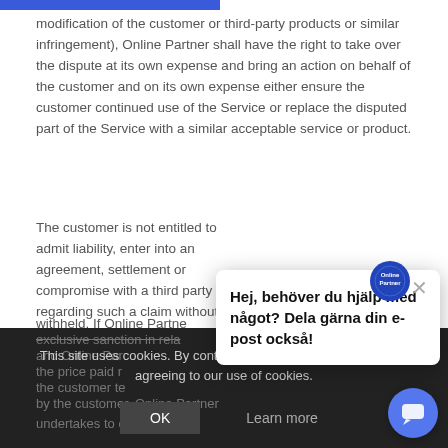modification of the customer or third-party products or similar infringement), Online Partner shall have the right to take over the dispute at its own expense and bring an action on behalf of the customer and on its own expense either ensure the customer continued use of the Service or replace the disputed part of the Service with a similar acceptable service or product.
The customer is not entitled to admit liability, enter into an agreement, settlement or compromise with a third party regarding such a claim without having obtained Online Partner's written consent [partially obscured]. If Online Partne[r] right to use a similar acce[ptable...] party has the right to ter[minate...] other party regarding suc[h...]
exclusive sanction in rela[tion...] and Online Par[tner agrees...] the price paid r[egarding...] all pro[ducts] provided [to] the customer te[rms...] [out]...benefit ta[ken] by the customer. Online Partner undertakes to compensate
[Figure (screenshot): Chat popup overlay with Online Partner logo, close button (×), and Swedish text: 'Hej, behöver du hjälp med något? Dela gärna din e-post också!']
This site uses cookies. By continuing to browse the site, you are agreeing to our use of cookies.